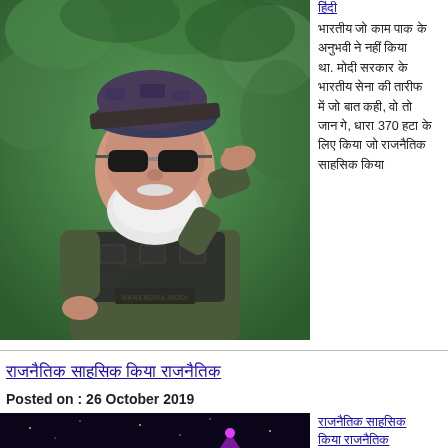[Figure (photo): Narendra Modi in military camouflage uniform saluting, wearing sunglasses and cap, name badge visible]
हिंदी text link at top right
भारतीय जो काम पाक के अनुभवी ने नहीं कर. मोदी सरकार ने भारतीय सेना की तारीफ में जो बात कही, वो तो जान गे, धारा 370 हटा के लिए किया जो राजनैतिक साहस किया
राजनैतिक साहस किया राजनैतिक
Posted on : 26 October 2019
[Figure (photo): Nighttime Diwali celebration at Ayodhya riverbank with colorful lights on buildings and crowd of people with diyas]
राजनैतिक साहसिक किया राजनैतिक
अयोध्या नगरी राजनैतिक ने लाख दीपक जलाकर, विश्वरिकर्ड बना कर लिए 5.51 लाख दीपक. किया नया विश्वरिकर्ड बना कर विश्वरिकर्ड